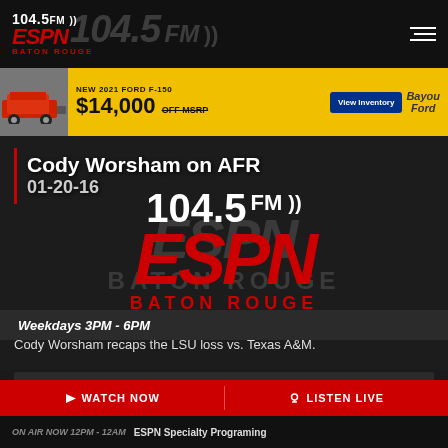104.5 FM ESPN Baton Rouge
[Figure (screenshot): Advertisement banner for New 2021 Ford F-150, $14,000 OFF MSRP, with View Inventory button and Bayou Ford logo]
Cody Worsham on AFR 01-20-16
[Figure (logo): 104.5 FM ESPN Baton Rouge logo overlay with large red ESPN text and white 104.5 FM frequency]
Weekdays 3PM - 6PM
Cody Worsham recaps the LSU loss vs. Texas A&M.
WATCH NOW   LISTEN LIVE
ON AIR NOW 12PM - 12AM  ESPN Specialty Programing